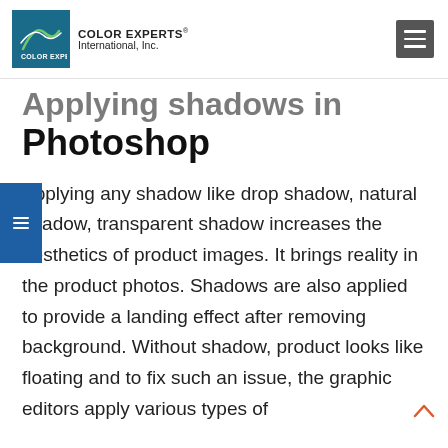COLOR EXPERTS International, Inc.
Applying shadows in Photoshop
Applying any shadow like drop shadow, natural shadow, transparent shadow increases the aesthetics of product images. It brings reality in the product photos. Shadows are also applied to provide a landing effect after removing background. Without shadow, product looks like floating and to fix such an issue, the graphic editors apply various types of